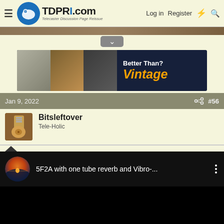TDPRI.com — Telecaster Discussion Page Reissue | Log in | Register
[Figure (screenshot): Partial image strip at top of page]
[Figure (photo): Advertisement banner: Better Than? Vintage — guitar pickups]
Jan 9, 2022  #56
Bitsleftover
Tele-Holic
[Figure (screenshot): YouTube video embed: 5F2A with one tube reverb and Vibro-...]